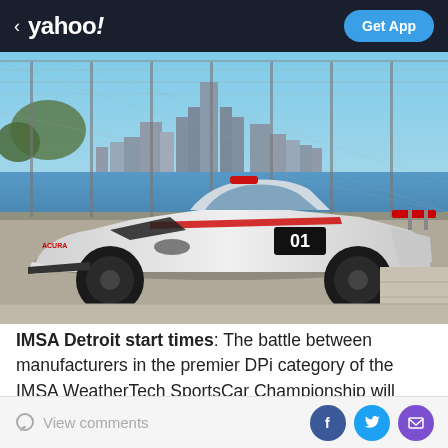< yahoo! | Get App
[Figure (photo): A white Cadillac DPi-V.R race car numbered 01 parked in front of a chain-link fence with the Detroit city skyline and river visible in the background on a sunny day.]
IMSA Detroit start times: The battle between manufacturers in the premier DPi category of the IMSA WeatherTech SportsCar Championship will resume this weekend at a new venue and with a likely new favorite
View comments | [Facebook] [Twitter] [Email]